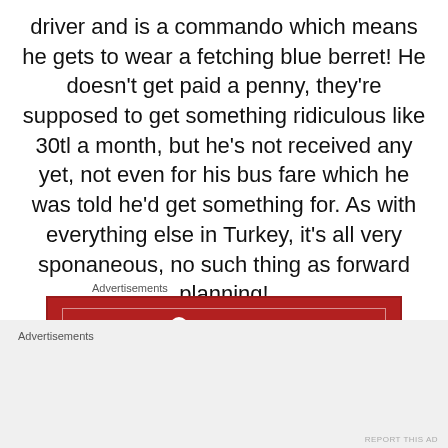driver and is a commando which means he gets to wear a fetching blue berret! He doesn't get paid a penny, they're supposed to get something ridiculous like 30tl a month, but he's not received any yet, not even for his bus fare which he was told he'd get something for. As with everything else in Turkey, it's all very sponaneous, no such thing as forward planning!
[Figure (other): Longreads advertisement banner: dark red background with Longreads logo and text 'The best stories on the web – ours, and everyone else's.']
He's not had a day off at the weekend since he's been back, due to a couple of fellow soldiers having a fight and
[Figure (other): Advertisements placeholder block with gray background]